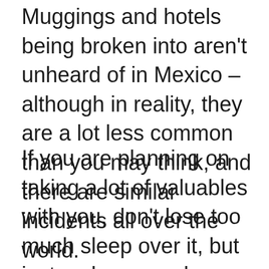Muggings and hotels being broken into aren't unheard of in Mexico – although in reality, they are a lot less common than you may think, and there are similar incidents all over the world.
If you are planning on taking a lot of valuables with you, don't lose too much sleep over it, but just make sure wherever you are staying is secure, you always know how to reach your accommodation when you arrive at a new destination (I always avoid arriving